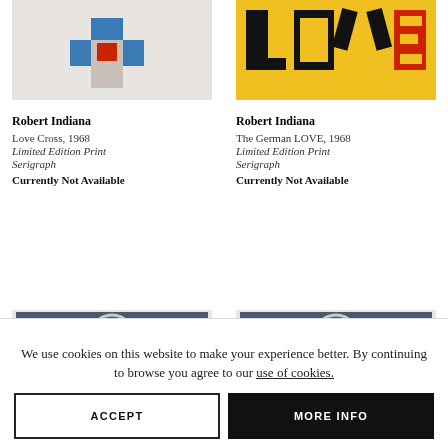[Figure (photo): Love Cross artwork by Robert Indiana, 1968, showing geometric cross shape with blue and red on beige background]
[Figure (photo): The German LOVE artwork by Robert Indiana, 1968, showing LOVE letters in red and black on yellow background]
Robert Indiana
Love Cross, 1968
Limited Edition Print
Serigraph
Currently Not Available
Robert Indiana
The German LOVE, 1968
Limited Edition Print
Serigraph
Currently Not Available
[Figure (photo): Partial view of another Robert Indiana artwork with dark blue background and circular design with red arrow]
[Figure (photo): Partial view of another Robert Indiana artwork with dark blue background and circular design with red arrow]
We use cookies on this website to make your experience better. By continuing to browse you agree to our use of cookies.